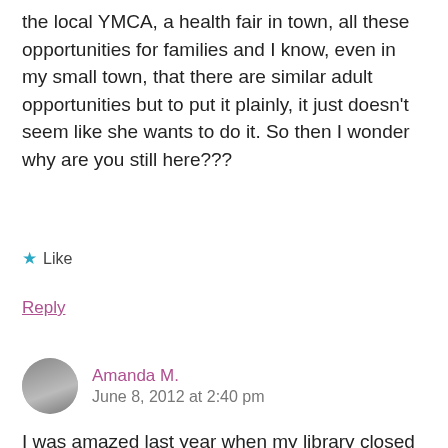the local YMCA, a health fair in town, all these opportunities for families and I know, even in my small town, that there are similar adult opportunities but to put it plainly, it just doesn't seem like she wants to do it. So then I wonder why are you still here???
★ Like
Reply
Amanda M.
June 8, 2012 at 2:40 pm
I was amazed last year when my library closed